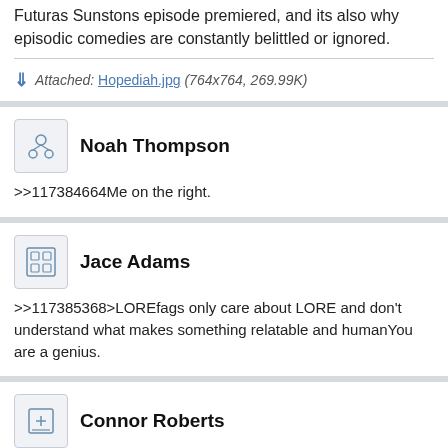Futuras Sunstons episode premiered, and its also why episodic comedies are constantly belittled or ignored.
Attached: Hopediah.jpg (764x764, 269.99K)
Noah Thompson
>>117384664Me on the right.
Jace Adams
>>117385368>LOREfags only care about LORE and don't understand what makes something relatable and humanYou are a genius.
Connor Roberts
>>117385368It especially makes me mad when Amphibia fags do this. Amphibia's filler is hilarious as fuck.